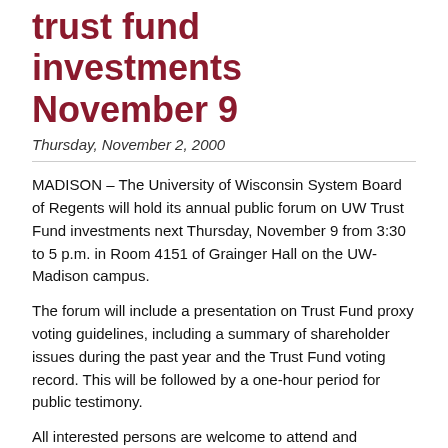trust fund investments November 9
Thursday, November 2, 2000
MADISON – The University of Wisconsin System Board of Regents will hold its annual public forum on UW Trust Fund investments next Thursday, November 9 from 3:30 to 5 p.m. in Room 4151 of Grainger Hall on the UW-Madison campus.
The forum will include a presentation on Trust Fund proxy voting guidelines, including a summary of shareholder issues during the past year and the Trust Fund voting record. This will be followed by a one-hour period for public testimony.
All interested persons are welcome to attend and participate. Those who wish to speak are asked to register in advance by contacting the board office at (608) 262-2324. Registration forms will also be available at the forum, and all persons